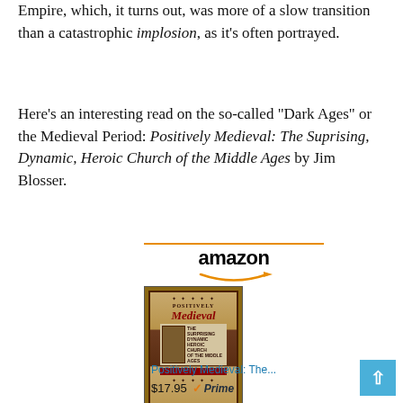Empire, which, it turns out, was more of a slow transition than a catastrophic implosion, as it's often portrayed.
Here's an interesting read on the so-called "Dark Ages" or the Medieval Period: Positively Medieval: The Suprising, Dynamic, Heroic Church of the Middle Ages by Jim Blosser.
[Figure (other): Amazon product widget showing the book 'Positively Medieval: The...' priced at $17.95 with Prime badge and a Shop now button, including the Amazon logo with orange arrow and the book cover image.]
Positively Medieval: The...
$17.95  ✓Prime
Shop now